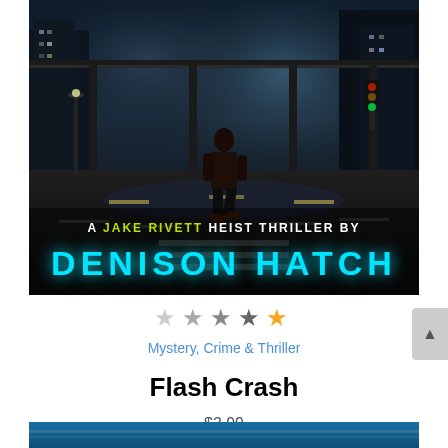[Figure (illustration): Book cover for 'Flash Crash', a Jake Rivett heist thriller by Denison Hatch. Shows a man in a suit walking on a dark city street at night with city lights in the background. Text on cover reads 'A JAKE RIVETT HEIST THRILLER BY DENISON HATCH' in yellow-green and cyan lettering.]
[Figure (other): Star rating showing approximately 2.5 out of 5 stars]
Mystery, Crime & Thriller
Flash Crash
$3.99
[Figure (photo): Bottom strip of next book cover, showing blue tones]